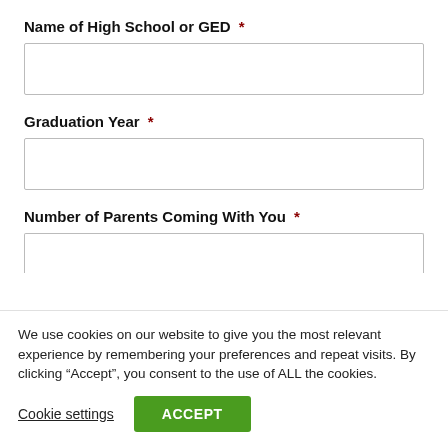Name of High School or GED *
Graduation Year *
Number of Parents Coming With You *
We use cookies on our website to give you the most relevant experience by remembering your preferences and repeat visits. By clicking “Accept”, you consent to the use of ALL the cookies.
Cookie settings
ACCEPT